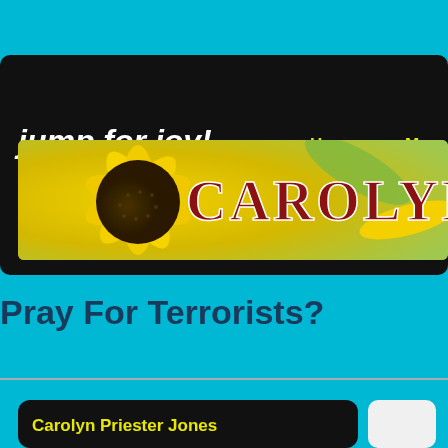jump for joy! Finding the JOY in Life
[Figure (photo): Sunflower banner image with 'CAROLYN P' text overlay in dark red/maroon bold serif font on a yellow sunflower background]
Pray For Terrorists?
Carolyn Priester Jones